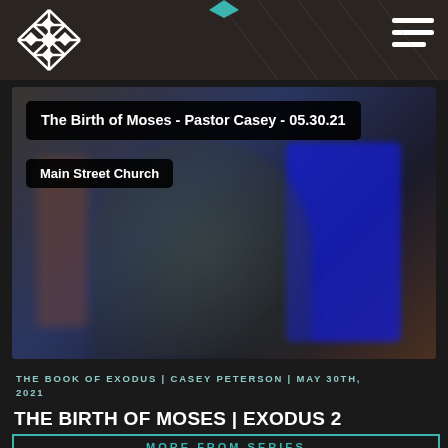Main Street Church header with logo and navigation menu
[Figure (screenshot): Blurred video thumbnail showing a person speaking with a blue banner/screen behind them. Overlay text shows video title and channel name.]
The Birth of Moses - Pastor Casey - 05.30.21
Main Street Church
THE BOOK OF EXODUS | CASEY PETERSON | MAY 30TH, 2021
THE BIRTH OF MOSES | EXODUS 2
MORE FROM SERIES